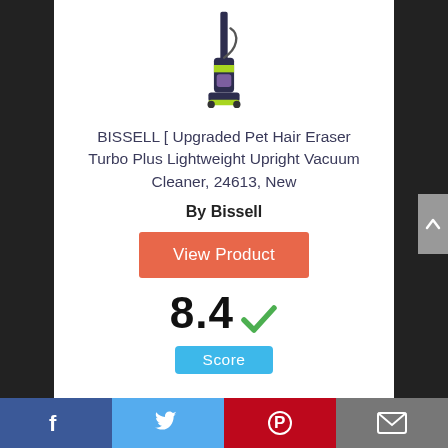[Figure (photo): Upright vacuum cleaner (BISSELL Pet Hair Eraser Turbo Plus) — dark blue/green/lime color, product photo on white background]
BISSELL [ Upgraded Pet Hair Eraser Turbo Plus Lightweight Upright Vacuum Cleaner, 24613, New
By Bissell
View Product
8.4  Score